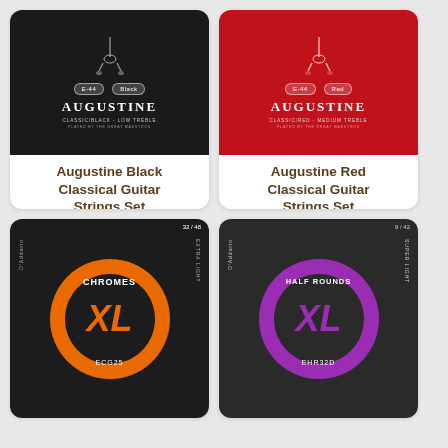[Figure (photo): Augustine Black Classical Guitar Strings Set product image - black background with white Augustine logo]
Augustine Black Classical Guitar Strings Set
£8.60
✓ In Stock
[Figure (photo): Augustine Red Classical Guitar Strings Set product image - red background with white Augustine logo]
Augustine Red Classical Guitar Strings Set
£10.95
✓ In Stock
[Figure (photo): D'Addario XL Chromes ECG25 electric guitar strings - orange and black circular logo]
[Figure (photo): D'Addario XL Half Rounds EHR32D electric guitar strings - purple and dark circular logo]